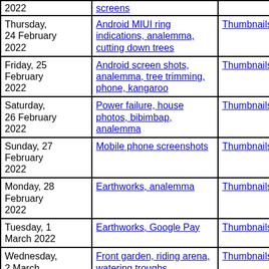| Date | Description | Thumbnails | Small photos | dia |
| --- | --- | --- | --- | --- |
| 2022 | screens |  |  |  |
| Thursday, 24 February 2022 | Android MIUI ring indications, analemma, cutting down trees | Thumbnails | Small photos | dia |
| Friday, 25 February 2022 | Android screen shots, analemma, tree trimming, phone, kangaroo | Thumbnails | Small photos | dia |
| Saturday, 26 February 2022 | Power failure, house photos, bibimbap, analemma | Thumbnails | Small photos | dia |
| Sunday, 27 February 2022 | Mobile phone screenshots | Thumbnails | Small photos | dia |
| Monday, 28 February 2022 | Earthworks, analemma | Thumbnails | Small photos | dia |
| Tuesday, 1 March 2022 | Earthworks, Google Pay | Thumbnails | Small photos | dia |
| Wednesday, 2 March 2022 | Front garden, riding arena, watering troughs, analemma, gochujang | Thumbnails | Small photos | dia |